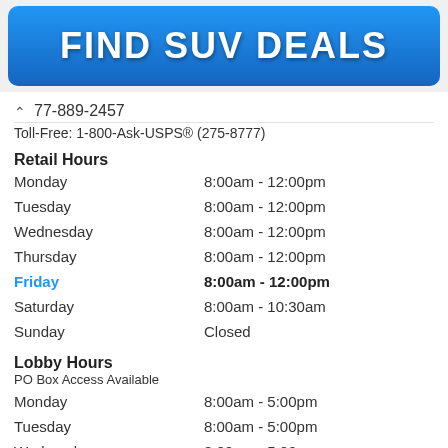[Figure (other): Blue button banner with white bold text reading FIND SUV DEALS]
^ 77-889-2457
Toll-Free: 1-800-Ask-USPS® (275-8777)
Retail Hours
Monday   8:00am - 12:00pm
Tuesday   8:00am - 12:00pm
Wednesday   8:00am - 12:00pm
Thursday   8:00am - 12:00pm
Friday   8:00am - 12:00pm
Saturday   8:00am - 10:30am
Sunday   Closed
Lobby Hours
PO Box Access Available
Monday   8:00am - 5:00pm
Tuesday   8:00am - 5:00pm
Wednesday   8:00am - 5:00pm